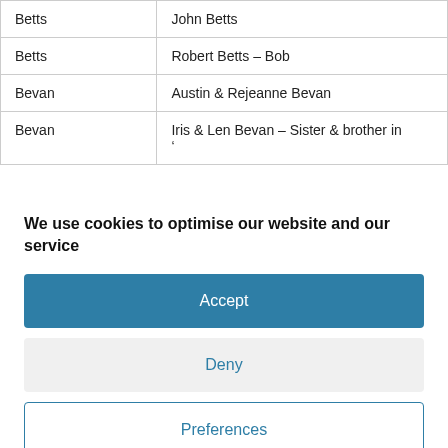| Betts | John Betts |
| Betts | Robert Betts – Bob |
| Bevan | Austin & Rejeanne Bevan |
| Bevan | Iris & Len Bevan – Sister & brother in
' |
We use cookies to optimise our website and our service
Accept
Deny
Preferences
Cookie Policy  Privacy Policy